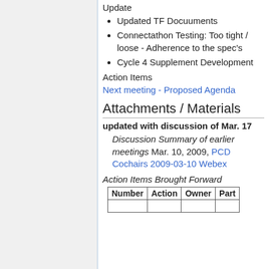Update
Updated TF Docuuments
Connectathon Testing: Too tight / loose - Adherence to the spec's
Cycle 4 Supplement Development
Action Items
Next meeting - Proposed Agenda
Attachments / Materials
updated with discussion of Mar. 17
Discussion Summary of earlier meetings Mar. 10, 2009, PCD Cochairs 2009-03-10 Webex
Action Items Brought Forward
| Number | Action | Owner | Part |
| --- | --- | --- | --- |
|  |  |  |  |